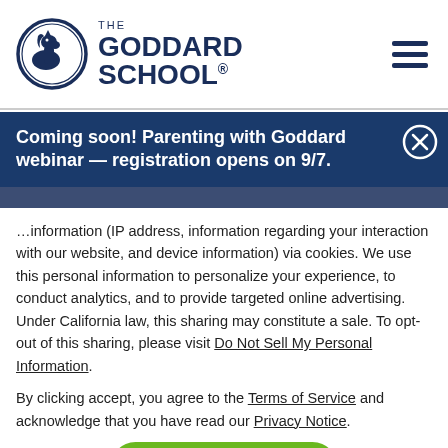[Figure (logo): The Goddard School logo - circular emblem with horse head on left, text 'THE GODDARD SCHOOL®' on right, navy blue color scheme]
Coming soon! Parenting with Goddard webinar — registration opens on 9/7.
…information (IP address, information regarding your interaction with our website, and device information) via cookies. We use this personal information to personalize your experience, to conduct analytics, and to provide targeted online advertising. Under California law, this sharing may constitute a sale. To opt-out of this sharing, please visit Do Not Sell My Personal Information.
By clicking accept, you agree to the Terms of Service and acknowledge that you have read our Privacy Notice.
ACCEPT
Our expertly trained and experienced